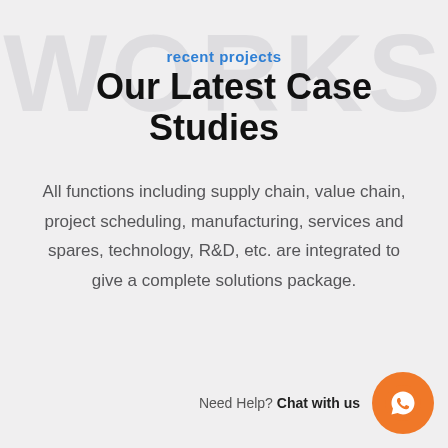recent projects
Our Latest Case Studies
All functions including supply chain, value chain, project scheduling, manufacturing, services and spares, technology, R&D, etc. are integrated to give a complete solutions package.
Need Help? Chat with us